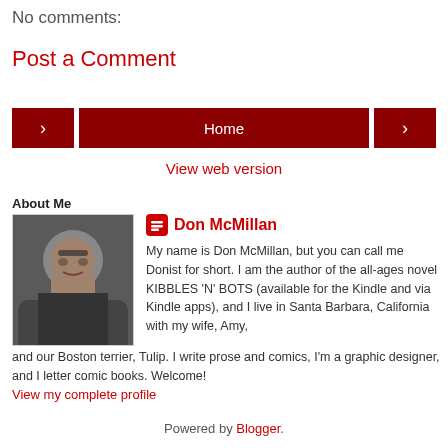No comments:
Post a Comment
[Figure (other): Navigation buttons: left arrow, Home button (dark red), right arrow]
View web version
About Me
[Figure (photo): Profile photo of Don McMillan, a man with glasses]
Don McMillan
My name is Don McMillan, but you can call me Donist for short. I am the author of the all-ages novel KIBBLES 'N' BOTS (available for the Kindle and via Kindle apps), and I live in Santa Barbara, California with my wife, Amy, and our Boston terrier, Tulip. I write prose and comics, I'm a graphic designer, and I letter comic books. Welcome!
View my complete profile
Powered by Blogger.